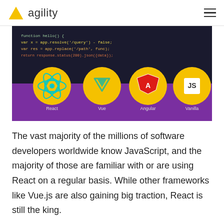agility
[Figure (illustration): Dark code editor background with four yellow circular icons for React, Vue, Angular, and Vanilla JS frameworks on a purple banner.]
The vast majority of the millions of software developers worldwide know JavaScript, and the majority of those are familiar with or are using React on a regular basis. While other frameworks like Vue.js are also gaining big traction, React is still the king.
What's really interesting is that JAMStack developers are using Static Site Generators